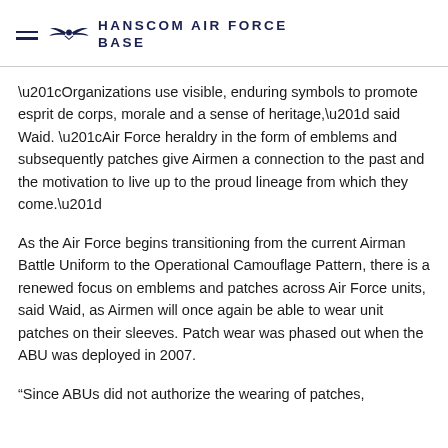HANSCOM AIR FORCE BASE
“Organizations use visible, enduring symbols to promote esprit de corps, morale and a sense of heritage,” said Waid. “Air Force heraldry in the form of emblems and subsequently patches give Airmen a connection to the past and the motivation to live up to the proud lineage from which they come.”
As the Air Force begins transitioning from the current Airman Battle Uniform to the Operational Camouflage Pattern, there is a renewed focus on emblems and patches across Air Force units, said Waid, as Airmen will once again be able to wear unit patches on their sleeves. Patch wear was phased out when the ABU was deployed in 2007.
“Since ABUs did not authorize the wearing of patches,